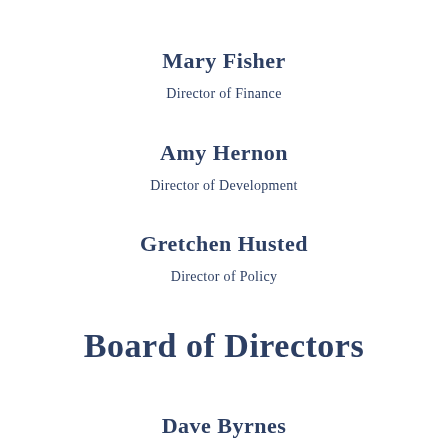Mary Fisher
Director of Finance
Amy Hernon
Director of Development
Gretchen Husted
Director of Policy
Board of Directors
Dave Byrnes